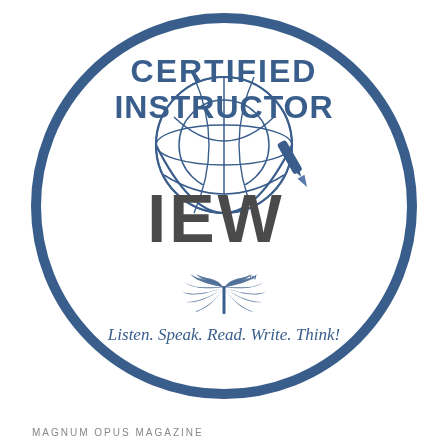[Figure (logo): IEW Certified Instructor badge/seal: a large circle with a thick blue border containing the text 'CERTIFIED INSTRUCTOR' at the top in bold blue uppercase letters, a globe illustration, the letters 'IEW' in large dark gray bold text with a pen/quill icon, laurel wreath branches below, trademark symbol, and the tagline 'Listen. Speak. Read. Write. Think!' in blue italic text.]
MAGNUM OPUS MAGAZINE